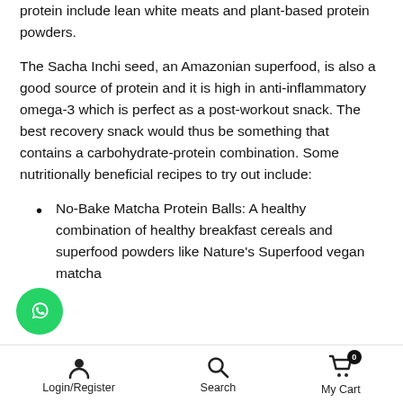protein include lean white meats and plant-based protein powders.
The Sacha Inchi seed, an Amazonian superfood, is also a good source of protein and it is high in anti-inflammatory omega-3 which is perfect as a post-workout snack. The best recovery snack would thus be something that contains a carbohydrate-protein combination. Some nutritionally beneficial recipes to try out include:
No-Bake Matcha Protein Balls: A healthy combination of healthy breakfast cereals and superfood powders like Nature's Superfood vegan matcha
Login/Register   Search   My Cart 0